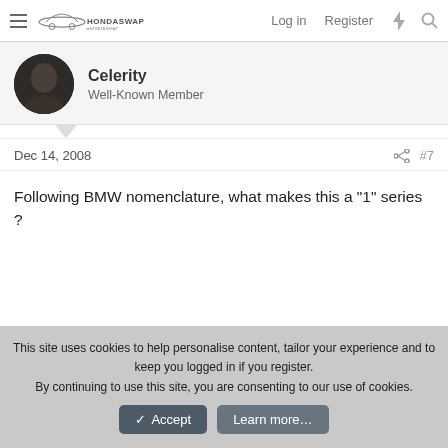HondaSwap — Log in  Register
Celerity
Well-Known Member
Dec 14, 2008  #7
Following BMW nomenclature, what makes this a "1" series ?
This site uses cookies to help personalise content, tailor your experience and to keep you logged in if you register.
By continuing to use this site, you are consenting to our use of cookies.